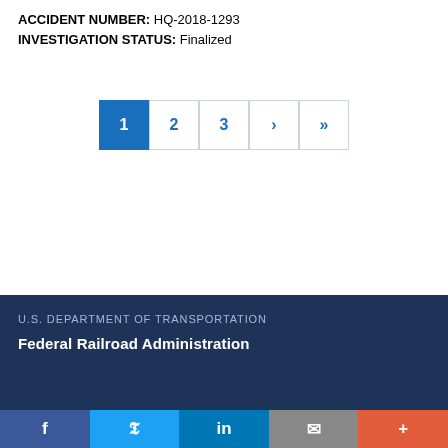ACCIDENT NUMBER: HQ-2018-1293
INVESTIGATION STATUS: Finalized
[Figure (other): Pagination control with buttons: 1 (active/selected, blue background), 2, 3, › (next), »» (last)]
U.S. DEPARTMENT OF TRANSPORTATION
Federal Railroad Administration
[Figure (other): Social media sharing bar with icons: Facebook (f), Twitter (bird), LinkedIn (in), Email (envelope), More (+)]